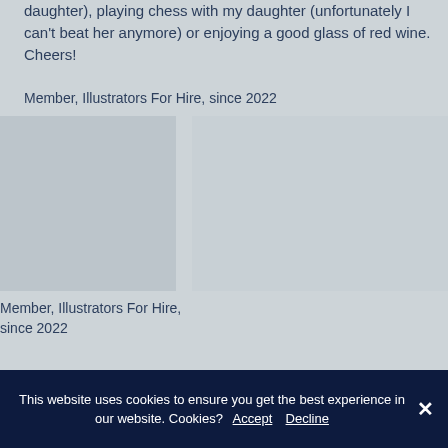daughter), playing chess with my daughter (unfortunately I can't beat her anymore) or enjoying a good glass of red wine. Cheers!
Member, Illustrators For Hire, since 2022
[Figure (photo): Placeholder image area on the left]
[Figure (photo): Placeholder image area on the right]
Member, Illustrators For Hire, since 2022
This website uses cookies to ensure you get the best experience in our website. Cookies? Accept Decline